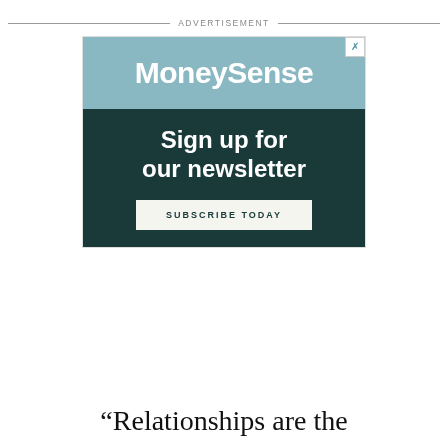ADVERTISEMENT
[Figure (illustration): MoneySense advertisement banner with teal top section showing 'MoneySense' logo in white, dark teal bottom section with text 'Sign up for our newsletter' and a 'SUBSCRIBE TODAY' button.]
“Relationships are the